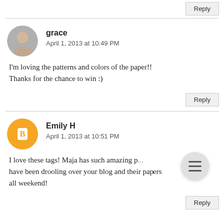Reply
[Figure (photo): Circular avatar photo of a young Asian woman]
grace
April 1, 2013 at 10:49 PM
I'm loving the patterns and colors of the paper!! Thanks for the chance to win :)
Reply
[Figure (logo): Orange circular Blogger icon with white B letter]
Emily H
April 1, 2013 at 10:51 PM
I love these tags! Maja has such amazing p... have been drooling over your blog and their papers all weekend!
Reply